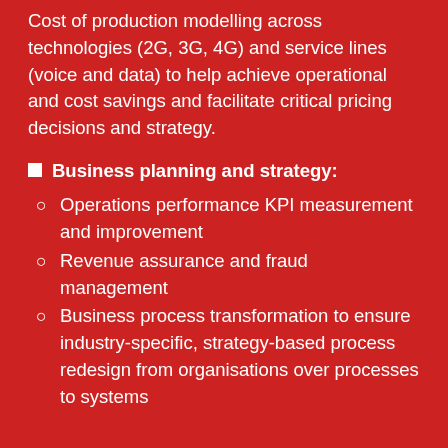Cost of production modelling across technologies (2G, 3G, 4G) and service lines (voice and data) to help achieve operational and cost savings and facilitate critical pricing decisions and strategy.
Business planning and strategy:
Operations performance KPI measurement and improvement
Revenue assurance and fraud management
Business process transformation to ensure industry-specific, strategy-based process redesign from organisations over processes to systems